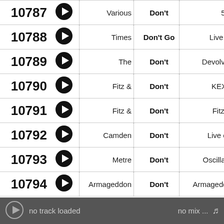| # |  | Artist | Track | Album | Extra |
| --- | --- | --- | --- | --- | --- |
| 10787 | ▶ | Various | Don't | 5th | E |
| 10788 | ▶ | Times | Don't Go | Live at | Pu |
| 10789 | ▶ | The | Don't | Devolver | Lo |
| 10790 | ▶ | Fitz & | Don't | KEXP | Sou |
| 10791 | ▶ | Fitz & | Don't | Fitz & | R |
| 10792 | ▶ | Camden | Don't | Live on | Spo |
| 10793 | ▶ | Metre | Don't | Oscillate | Electr |
| 10794 | ▶ | Armageddon | Don't | Armageddo |  |
no track loaded    no mix ...